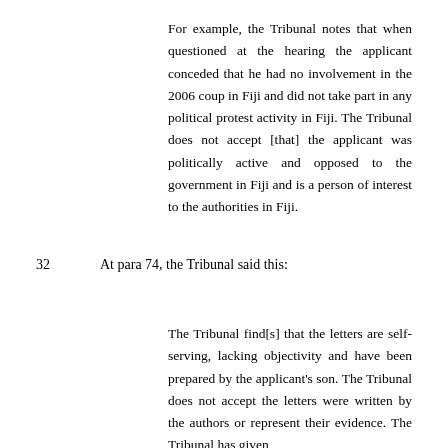For example, the Tribunal notes that when questioned at the hearing the applicant conceded that he had no involvement in the 2006 coup in Fiji and did not take part in any political protest activity in Fiji. The Tribunal does not accept [that] the applicant was politically active and opposed to the government in Fiji and is a person of interest to the authorities in Fiji.
32   At para 74, the Tribunal said this:
The Tribunal find[s] that the letters are self-serving, lacking objectivity and have been prepared by the applicant's son. The Tribunal does not accept the letters were written by the authors or represent their evidence. The Tribunal has given